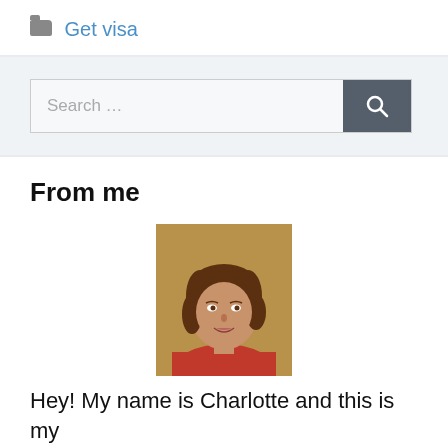Get visa
[Figure (photo): Headshot of a woman named Charlotte with brown hair, smiling, wearing a red top, against a tan/brown background]
From me
Hey! My name is Charlotte and this is my